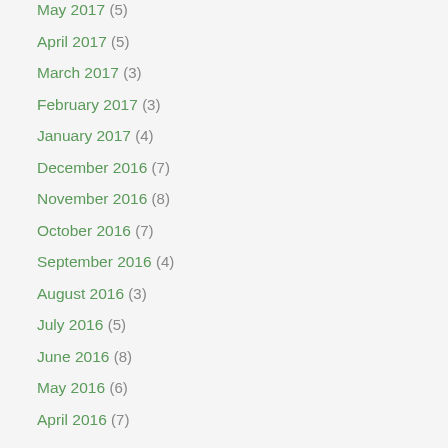May 2017 (5)
April 2017 (5)
March 2017 (3)
February 2017 (3)
January 2017 (4)
December 2016 (7)
November 2016 (8)
October 2016 (7)
September 2016 (4)
August 2016 (3)
July 2016 (5)
June 2016 (8)
May 2016 (6)
April 2016 (7)